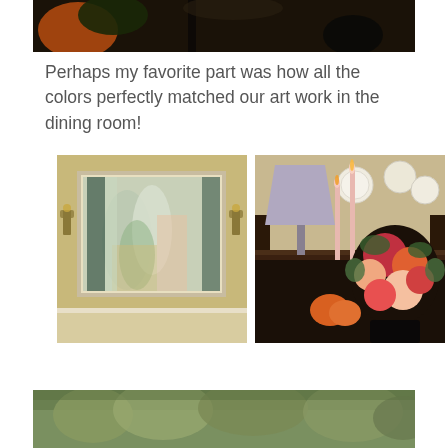[Figure (photo): Top portion of a room photo showing dark chandelier and dark background with orange plant element visible on left edge]
Perhaps my favorite part was how all the colors perfectly matched our art work in the dining room!
[Figure (photo): Abstract painting on a beige wall with brass sconces on either side — soft greens, teals, yellows, and peach tones in an organic abstract style]
[Figure (photo): Dining room sideboard with a grey lamp shade, tall pink candles, colorful dahlia flower arrangement in dark vase, white decorative plates on dark wood shelving, and a small pumpkin]
[Figure (photo): Bottom partial photo showing outdoor trees with autumn foliage in muted greens and browns]